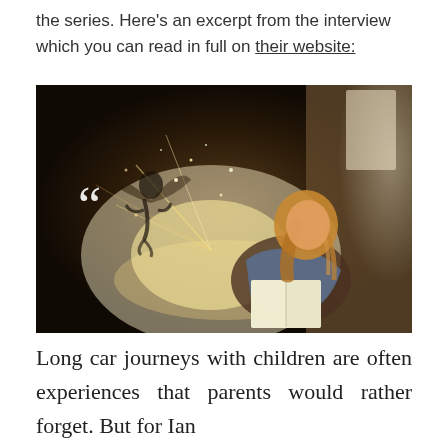the series. Here's an excerpt from the interview which you can read in full on their website:
[Figure (photo): A young girl with long blonde curly hair sits reading a glowing book, with a magical fairy-like silhouette visible in sparkling light emerging from the pages. The scene is dimly lit and magical in atmosphere.]
Long car journeys with children are often experiences that parents would rather forget. But for Ian